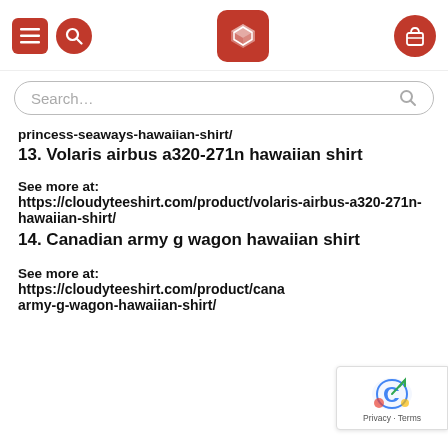Navigation header with menu, search, logo, and cart icons
Search…
princess-seaways-hawaiian-shirt/
13. Volaris airbus a320-271n hawaiian shirt
See more at:
https://cloudyteeshirt.com/product/volaris-airbus-a320-271n-hawaiian-shirt/
14. Canadian army g wagon hawaiian shirt
See more at:
https://cloudyteeshirt.com/product/cana army-g-wagon-hawaiian-shirt/